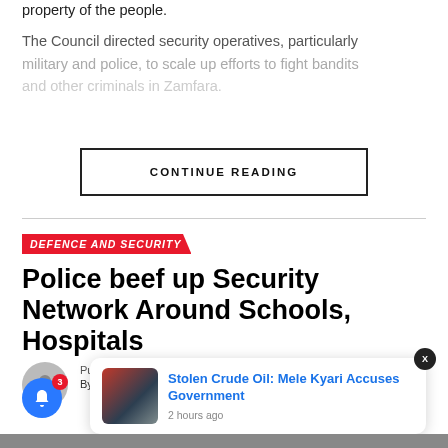property of the people.
The Council directed security operatives, particularly military and police, to scale up efforts to fight bandits and other criminals in Zamfara.
CONTINUE READING
DEFENCE AND SECURITY
Police beef up Security Network Around Schools, Hospitals
Published 2 weeks ago on August 14, 2022
By News Blast Team
[Figure (photo): Popup notification card showing a man in suit with Nigerian flag, with headline 'Stolen Crude Oil: Mele Kyari Accuses Government' and timestamp '2 hours ago']